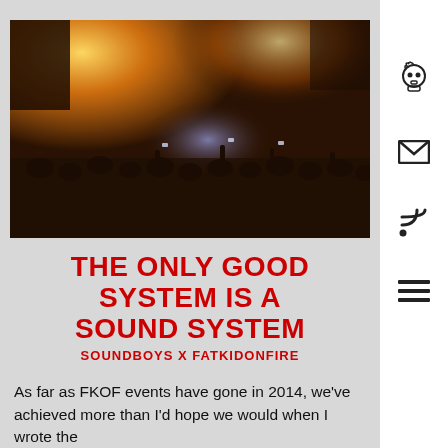[Figure (photo): Concert photo showing a crowd at a music event with bright orange/yellow stage lighting and smoke, crowd visible in the foreground with raised hands, dark atmospheric venue]
THE ONLY GOOD SYSTEM IS A SOUND SYSTEM
SOUNDBOYS X FATKIDONFIRE
As far as FKOF events have gone in 2014, we've achieved more than I'd hope we would when I wrote the